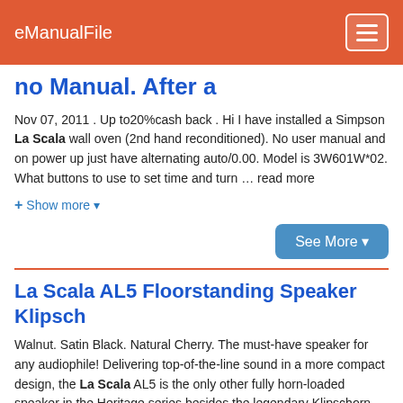eManualFile
no Manual. After a
Nov 07, 2011 . Up to20%cash back . Hi I have installed a Simpson La Scala wall oven (2nd hand reconditioned). No user manual and on power up just have alternating auto/0.00. Model is 3W601W*02. What buttons to use to set time and turn … read more
+ Show more ▾
See More ▾
La Scala AL5 Floorstanding Speaker Klipsch
Walnut. Satin Black. Natural Cherry. The must-have speaker for any audiophile! Delivering top-of-the-line sound in a more compact design, the La Scala AL5 is the only other fully horn-loaded speaker in the Heritage series besides the legendary Klipschorn. ANDREW ROBINSON "PERSONAL FAVORITE"